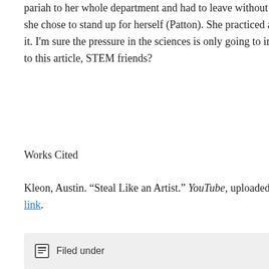pariah to her whole department and had to leave without obtaining her degree because she chose to stand up for herself (Patton). She practiced academic integrity and paid for it. I'm sure the pressure in the sciences is only going to increase. What was your reaction to this article, STEM friends?
Works Cited
Kleon, Austin. "Steal Like an Artist." YouTube, uploaded by TEDx Talks, 24 April 2012, link.
Patton, Stacey. "'My Advisor Stole My Research.'" The Chronicle of Higher Education, 11 November 2012, link, accessed 28 February 2017.
Filed under   2 Comments